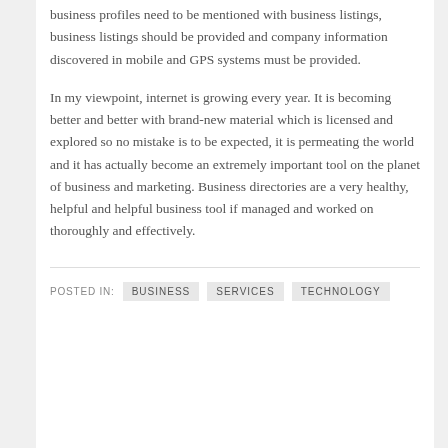business profiles need to be mentioned with business listings, business listings should be provided and company information discovered in mobile and GPS systems must be provided.
In my viewpoint, internet is growing every year. It is becoming better and better with brand-new material which is licensed and explored so no mistake is to be expected, it is permeating the world and it has actually become an extremely important tool on the planet of business and marketing. Business directories are a very healthy, helpful and helpful business tool if managed and worked on thoroughly and effectively.
POSTED IN: BUSINESS   SERVICES   TECHNOLOGY